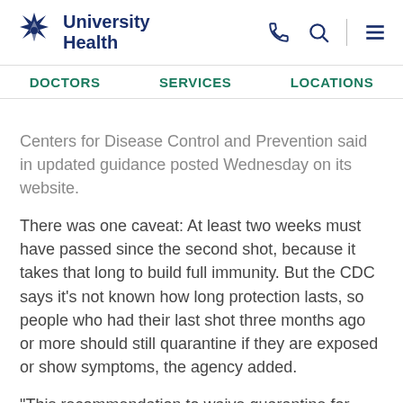University Health
Centers for Disease Control and Prevention said in updated guidance posted Wednesday on its website.
There was one caveat: At least two weeks must have passed since the second shot, because it takes that long to build full immunity. But the CDC says it's not known how long protection lasts, so people who had their last shot three months ago or more should still quarantine if they are exposed or show symptoms, the agency added.
"This recommendation to waive quarantine for people with vaccine-derived immunity aligns with